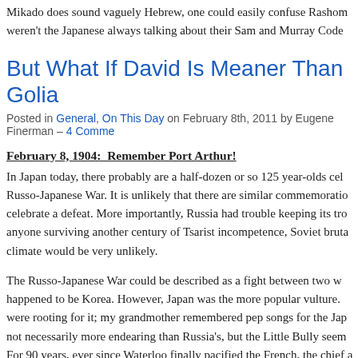Mikado does sound vaguely Hebrew, one could easily confuse Rashom weren't the Japanese always talking about their Sam and Murray Code
But What If David Is Meaner Than Golio
Posted in General, On This Day on February 8th, 2011 by Eugene Finerman – 4 Comme
February 8, 1904:  Remember Port Arthur!
In Japan today, there probably are a half-dozen or so 125 year-olds cel Russo-Japanese War. It is unlikely that there are similar commemoratio celebrate a defeat. More importantly, Russia had trouble keeping its tro anyone surviving another century of Tsarist incompetence, Soviet bruta climate would be very unlikely.
The Russo-Japanese War could be described as a fight between two w happened to be Korea. However, Japan was the more popular vulture. were rooting for it; my grandmother remembered pep songs for the Jap not necessarily more endearing than Russia's, but the Little Bully seem For 90 years, ever since Waterloo finally pacified the French, the chief a to contain Russian expansion.
The British and Russians were fighting proxy wars in Afghanistan, Per